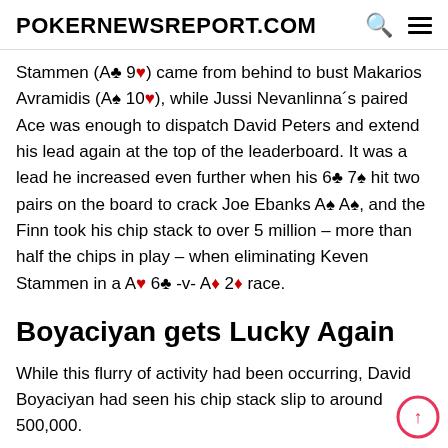POKERNEWSREPORT.COM
Stammen (A♣ 9♥) came from behind to bust Makarios Avramidis (A♠ 10♥), while Jussi Nevanlinna´s paired Ace was enough to dispatch David Peters and extend his lead again at the top of the leaderboard. It was a lead he increased even further when his 6♣ 7♠ hit two pairs on the board to crack Joe Ebanks A♠ A♠, and the Finn took his chip stack to over 5 million – more than half the chips in play – when eliminating Keven Stammen in a A♥ 6♣ -v- A♦ 2♦ race.
Boyaciyan gets Lucky Again
While this flurry of activity had been occurring, David Boyaciyan had seen his chip stack slip to around 500,000.